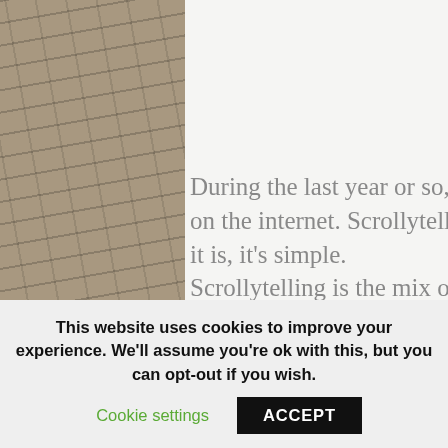[Figure (photo): Stone/cobblestone wall background flanking both sides of the page, with a white center panel]
During the last year or so, there has been something growing on the internet. Scrollytelling, for those who don't know what it is, it's simple.
Scrollytelling is the mix of
Posted on Wednesday, August 13th, 2014 by ATC in ATC Corporate News with No Comments
This website uses cookies to improve your experience. We'll assume you're ok with this, but you can opt-out if you wish.
Cookie settings
ACCEPT